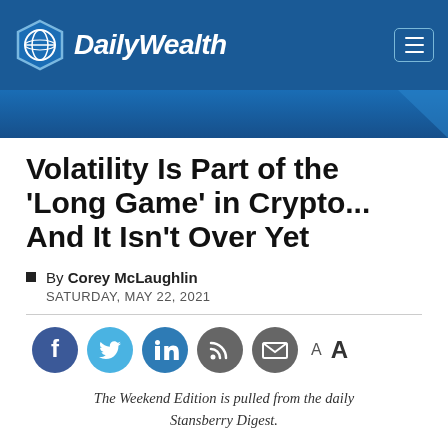DailyWealth
Volatility Is Part of the 'Long Game' in Crypto... And It Isn't Over Yet
By Corey McLaughlin
SATURDAY, MAY 22, 2021
[Figure (other): Social sharing icons: Facebook, Twitter, LinkedIn, RSS, Email, and font size controls A A]
The Weekend Edition is pulled from the daily Stansberry Digest.